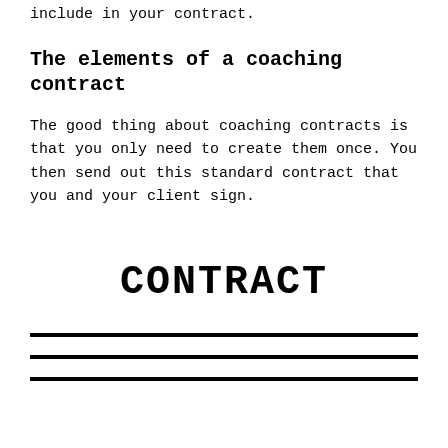include in your contract.
The elements of a coaching contract
The good thing about coaching contracts is that you only need to create them once. You then send out this standard contract that you and your client sign.
CONTRACT
[Figure (other): Three horizontal black lines representing contract signature lines]